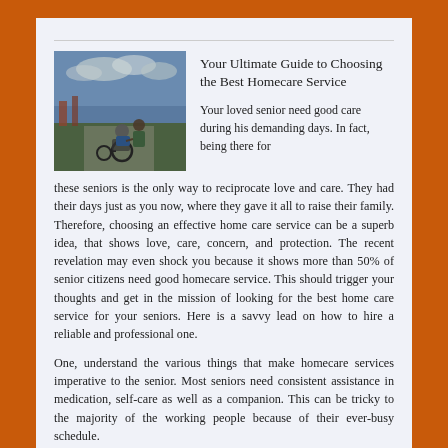Your Ultimate Guide to Choosing the Best Homecare Service
[Figure (photo): A caregiver pushing an elderly person in a wheelchair outdoors near a field with cloudy sky]
Your loved senior need good care during his demanding days. In fact, being there for these seniors is the only way to reciprocate love and care. They had their days just as you now, where they gave it all to raise their family. Therefore, choosing an effective home care service can be a superb idea, that shows love, care, concern, and protection. The recent revelation may even shock you because it shows more than 50% of senior citizens need good homecare service. This should trigger your thoughts and get in the mission of looking for the best home care service for your seniors. Here is a savvy lead on how to hire a reliable and professional one.
One, understand the various things that make homecare services imperative to the senior. Most seniors need consistent assistance in medication, self-care as well as a companion. This can be tricky to the majority of the working people because of their ever-busy schedule.